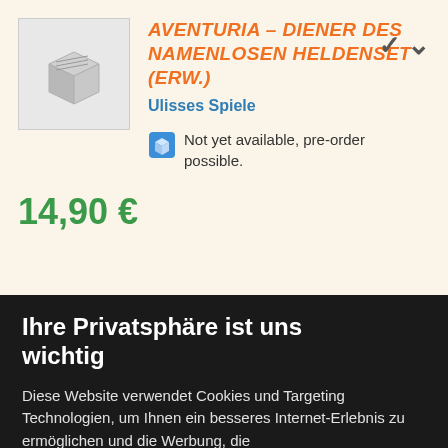[Figure (illustration): Product box image placeholder — grey/white 3D box shape]
Aventuria – Diener des Namenlosen Heldenset (Erw.)
Ulisses Spiele
Not yet available, pre-order possible.
14,90 €
Ihre Privatsphäre ist uns wichtig
Diese Website verwendet Cookies und Targeting Technologien, um Ihnen ein besseres Internet-Erlebnis zu ermöglichen und die Werbung, die